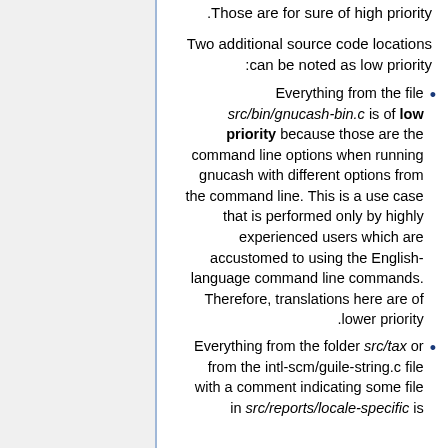.Those are for sure of high priority
Two additional source code locations :can be noted as low priority
Everything from the file src/bin/gnucash-bin.c is of low priority because those are the command line options when running gnucash with different options from the command line. This is a use case that is performed only by highly experienced users which are accustomed to using the English-language command line commands. Therefore, translations here are of lower priority.
Everything from the folder src/tax or from the intl-scm/guile-string.c file with a comment indicating some file in src/reports/locale-specific is